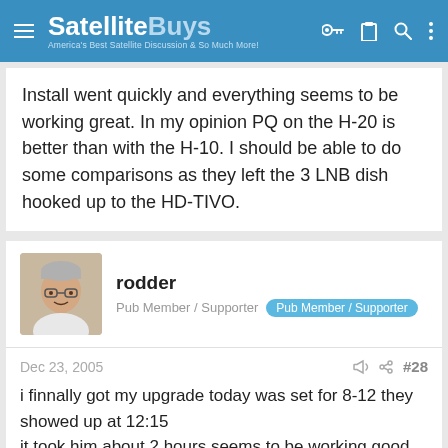SatelliteBuys — America's Best Satellite Discussion & So Much More!
Install went quickly and everything seems to be working great. In my opinion PQ on the H-20 is better than with the H-10. I should be able to do some comparisons as they left the 3 LNB dish hooked up to the HD-TIVO.
rodder
Pub Member / Supporter  Pub Member / Supporter
Dec 23, 2005  #28
i finnally got my upgrade today was set for 8-12 they showed up at 12:15
it took him about 2 hours seems to be working good. 😄